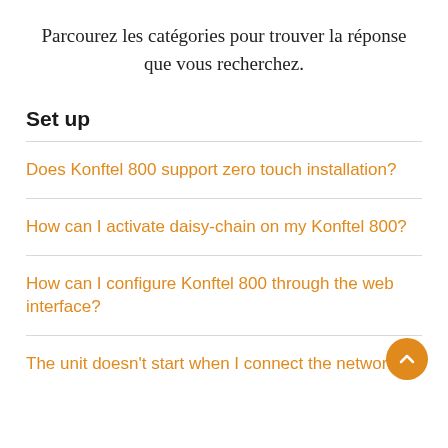Parcourez les catégories pour trouver la réponse que vous recherchez.
Set up
Does Konftel 800 support zero touch installation?
How can I activate daisy-chain on my Konftel 800?
How can I configure Konftel 800 through the web interface?
The unit doesn't start when I connect the network